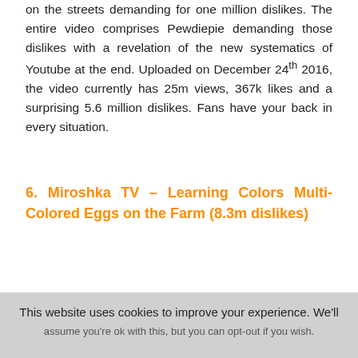on the streets demanding for one million dislikes. The entire video comprises Pewdiepie demanding those dislikes with a revelation of the new systematics of Youtube at the end. Uploaded on December 24th 2016, the video currently has 25m views, 367k likes and a surprising 5.6 million dislikes. Fans have your back in every situation.
6. Miroshka TV – Learning Colors Multi-Colored Eggs on the Farm (8.3m dislikes)
This website uses cookies to improve your experience. We'll